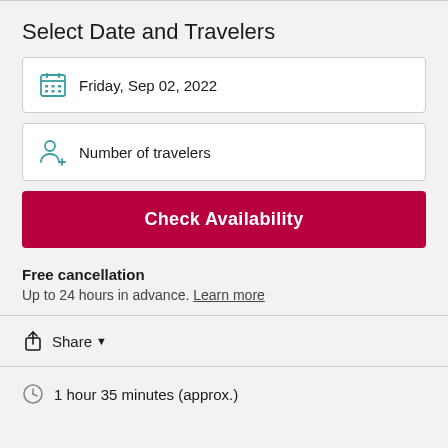Select Date and Travelers
Friday, Sep 02, 2022
Number of travelers
Check Availability
Free cancellation
Up to 24 hours in advance. Learn more
Share
1 hour 35 minutes (approx.)